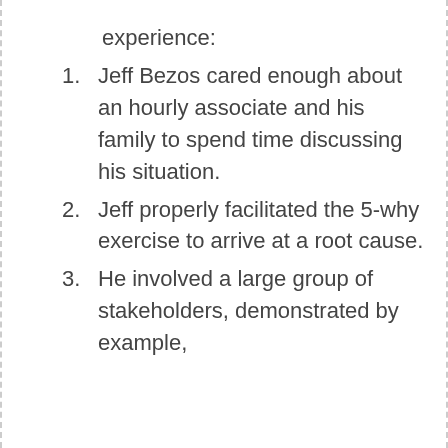amazing about this experience:
Jeff Bezos cared enough about an hourly associate and his family to spend time discussing his situation.
Jeff properly facilitated the 5-why exercise to arrive at a root cause.
He involved a large group of stakeholders, demonstrated by example,